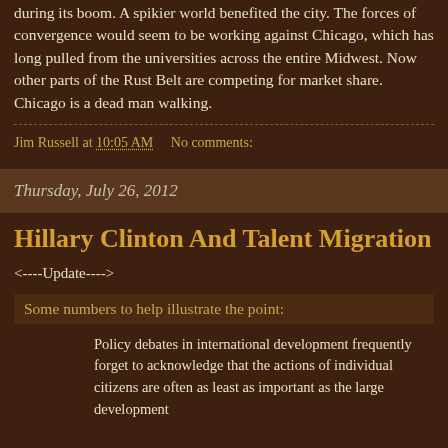during its boom. A spikier world benefited the city. The forces of convergence would seem to be working against Chicago, which has long pulled from the universities across the entire Midwest. Now other parts of the Rust Belt are competing for market share. Chicago is a dead man walking.
Jim Russell at 10:05 AM   No comments:
Thursday, July 26, 2012
Hillary Clinton And Talent Migration
<----Update---->
Some numbers to help illustrate the point:
Policy debates in international development frequently forget to acknowledge that the actions of individual citizens are often as least as important as the large development